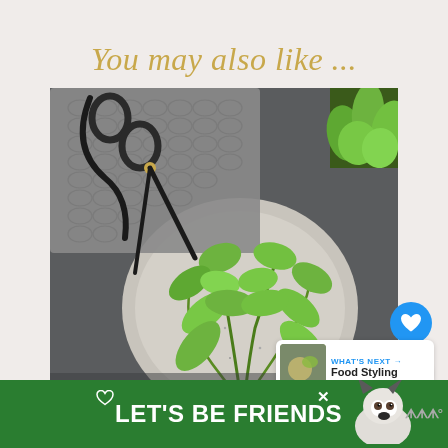You may also like ...
[Figure (photo): Overhead flatlay photo on a dark gray surface showing a speckled ceramic plate with fresh green basil sprigs, gray knitted/crocheted fabric, black scissors with a gold bead, and a green potted herb plant in the upper right corner.]
[Figure (photo): Small thumbnail image showing food styling content preview for 'What's Next' label.]
WHAT'S NEXT → Food Styling
[Figure (photo): Advertisement banner with green background showing 'LET'S BE FRIENDS' text with a husky dog illustration and a heart icon.]